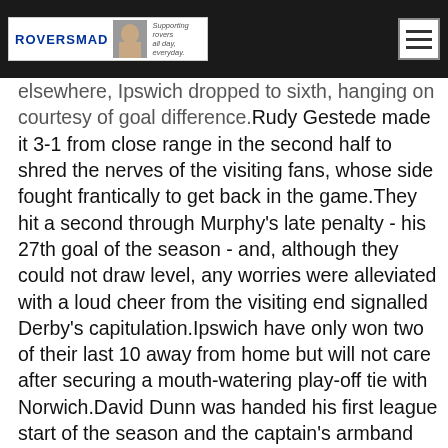ROVERSMAD — Supporting rovers all day, everyday.
elsewhere, Ipswich dropped to sixth, hanging on courtesy of goal difference.Rudy Gestede made it 3-1 from close range in the second half to shred the nerves of the visiting fans, whose side fought frantically to get back in the game.They hit a second through Murphy's late penalty - his 27th goal of the season - and, although they could not draw level, any worries were alleviated with a loud cheer from the visiting end signalled Derby's capitulation.Ipswich have only won two of their last 10 away from home but will not care after securing a mouth-watering play-off tie with Norwich.David Dunn was handed his first league start of the season and the captain's armband on his final Blackburn appearance, replacing the ineligible Paul Taylor in one of two changes from the draw at Huddersfield.McCarthy recalled Jay Tabb in for Stephen Hunt who dropped to the bench.The visitors made an ideal start when Tabb's corner was ferociously volleyed home by